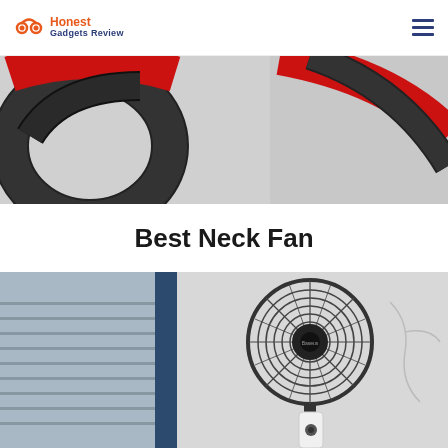Honest Gadgets Review
[Figure (photo): Close-up photo of a neck fan with black flexible tube and red outer casing, shown from two angles.]
Best Neck Fan
[Figure (photo): Photo of a Baseus pedestal/wall fan mounted on a white wall next to a blue window frame, with a remote control hanging below it.]